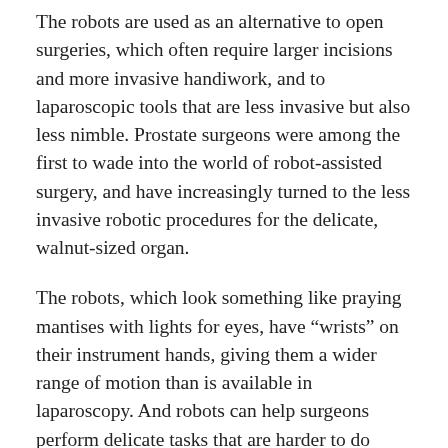The robots are used as an alternative to open surgeries, which often require larger incisions and more invasive handiwork, and to laparoscopic tools that are less invasive but also less nimble. Prostate surgeons were among the first to wade into the world of robot-assisted surgery, and have increasingly turned to the less invasive robotic procedures for the delicate, walnut-sized organ.
The robots, which look something like praying mantises with lights for eyes, have “wrists” on their instrument hands, giving them a wider range of motion than is available in laparoscopy. And robots can help surgeons perform delicate tasks that are harder to do without them, like detailed dissections and sewing.
Arielle Perez, a surgeon at the University of North Carolina’s Hernia Center, describes laparoscopic surgery as trying to complete a task with an arm cast on, only able